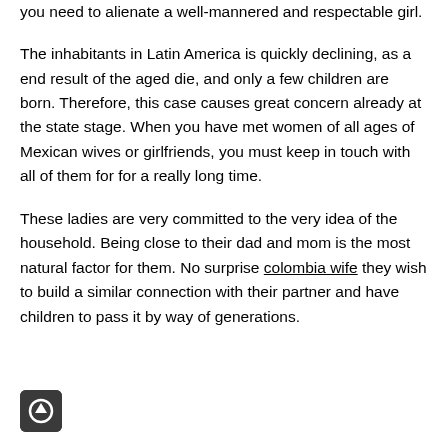you need to alienate a well-mannered and respectable girl.
The inhabitants in Latin America is quickly declining, as a end result of the aged die, and only a few children are born. Therefore, this case causes great concern already at the state stage. When you have met women of all ages of Mexican wives or girlfriends, you must keep in touch with all of them for for a really long time.
These ladies are very committed to the very idea of the household. Being close to their dad and mom is the most natural factor for them. No surprise colombia wife they wish to build a similar connection with their partner and have children to pass it by way of generations.
[Figure (other): Small dark rounded square icon with an upward arrow inside a circle]